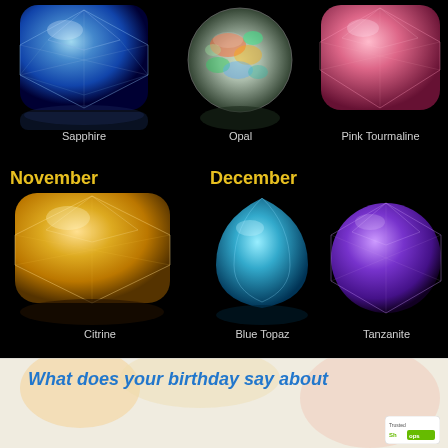[Figure (photo): Blue sapphire cushion cut gemstone on black background with reflection]
Sapphire
[Figure (photo): Round opal gemstone with colorful fire on black background]
Opal
[Figure (photo): Pink tourmaline cushion cut gemstone on black background]
Pink Tourmaline
November
[Figure (photo): Yellow/orange citrine cushion cut gemstone on black background with reflection]
Citrine
December
[Figure (photo): Blue topaz pear-shaped gemstone on black background with reflection]
Blue Topaz
[Figure (photo): Purple tanzanite gemstone on black background]
Tanzanite
What does your birthday say about